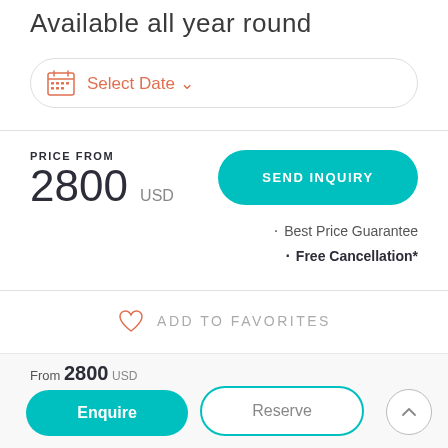Available all year round
Select Date ▾
PRICE FROM
2800 USD
SEND INQUIRY
Best Price Guarantee
Free Cancellation*
ADD TO FAVORITES
From 2800 USD
Enquire
Reserve